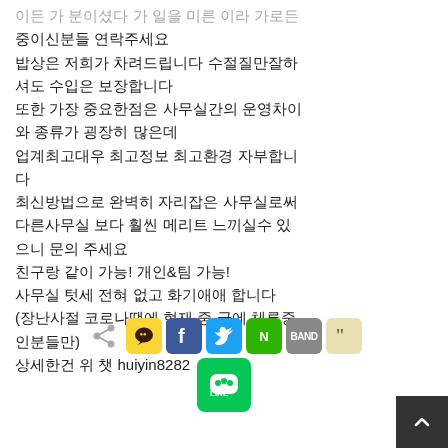이든 가 분이셨다 가 일을 미른 이라 가로든 중이신분들 연락주세요
밥상은 저희가 차려드립니다 수절질만잘하셔도 수입은 보장합니다
또한 가장 중요한점은 사무실간의 운영차이와 종류가 굉장히 많은데
업계최고대우 최고정보 최고환경 자부합니다
최신방법으로 완벽히 자리잡은 사무실로써 다른사무실 보다 훨씬 메리트 느끼실수 있으니 문의 주세요
친구랑 같이 가능! 개인&팀 가능!
사무실 텃세 전혀 없고 화기애애 합니다
(장난사절 코로나땜에 현재 중 국에 체류중인분들만)
상세한건 위 챗 huiyin8282
[Figure (infographic): Social share buttons row: share icon, KakaoTalk (yellow), Facebook (blue), Twitter (light blue), Naver (green), Band (gray), Quote (beige), and LINE (green) below]